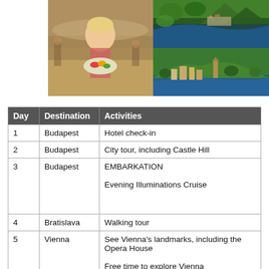[Figure (photo): Left photo: smiling blonde woman in traditional dress holding a plate of fresh vegetables at an outdoor market. Right top: aerial view of river valley with forested mountains. Right bottom: European town with river and hillside.]
| Day | Destination | Activities |
| --- | --- | --- |
| 1 | Budapest | Hotel check-in |
| 2 | Budapest | City tour, including Castle Hill |
| 3 | Budapest | EMBARKATION

Evening Illuminations Cruise |
| 4 | Bratislava | Walking tour |
| 5 | Vienna | See Vienna's landmarks, including the Opera House

Free time to explore Vienna |
| 6 | Dünstein | Choose a walking tour, tasting, OR |